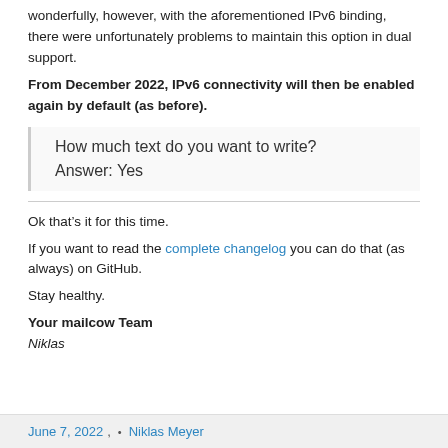wonderfully, however, with the aforementioned IPv6 binding, there were unfortunately problems to maintain this option in dual support.
From December 2022, IPv6 connectivity will then be enabled again by default (as before).
How much text do you want to write?
Answer: Yes
Ok that’s it for this time.
If you want to read the complete changelog you can do that (as always) on GitHub.
Stay healthy.
Your mailcow Team
Niklas
June 7, 2022, • Niklas Meyer